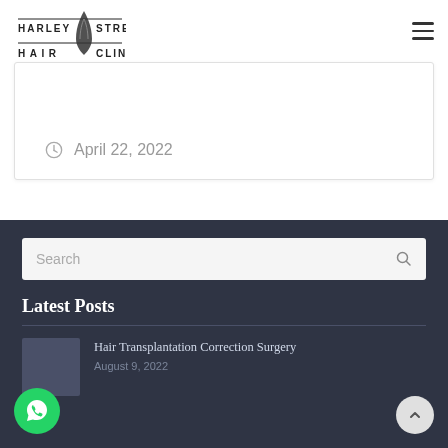Harley Street Hair Clinic
April 22, 2022
Search
Latest Posts
Hair Transplantation Correction Surgery
August 9, 2022